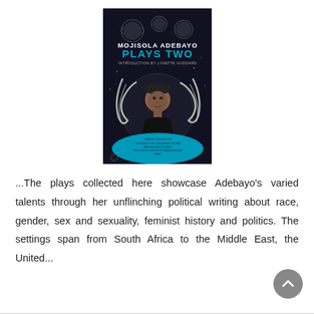[Figure (illustration): Book cover of 'Mojisola Adebayo Plays Two' with introduction by Lynette Goddard. Dark background with illustrated figure of a woman surrounded by cosmic/space imagery, planets and swirling elements. Teal and white typography on black.]
...The plays collected here showcase Adebayo's varied talents through her unflinching political writing about race, gender, sex and sexuality, feminist history and politics. The settings span from South Africa to the Middle East, the United...